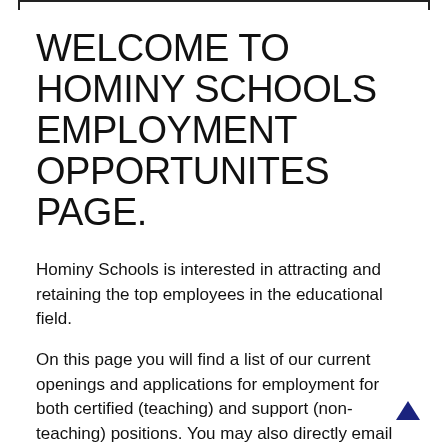WELCOME TO HOMINY SCHOOLS EMPLOYMENT OPPORTUNITES PAGE.
Hominy Schools is interested in attracting and retaining the top employees in the educational field.
On this page you will find a list of our current openings and applications for employment for both certified (teaching) and support (non-teaching) positions. You may also directly email your coverletter and resume to Hominy Schools Superintendent, Cory Campbell at ccampbell@hominyk12.ok...